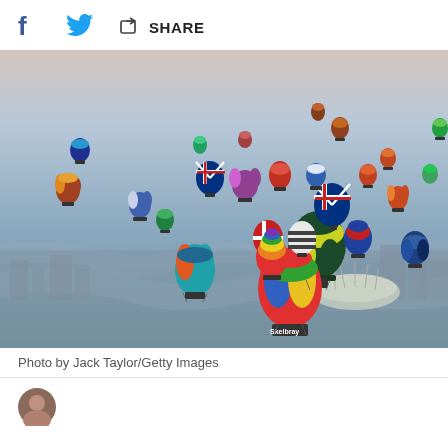[Figure (other): Social sharing bar with Facebook icon, Twitter bird icon, and a share button with share icon and SHARE text]
[Figure (photo): Aerial photograph of dozens of colorful hot air balloons flying over London, with the Thames River and the O2 Arena visible below, taken at dusk or dawn. Photo by Jack Taylor/Getty Images.]
Photo by Jack Taylor/Getty Images
[Figure (other): Bottom of page showing partial author avatar (circular photo) beginning to appear]